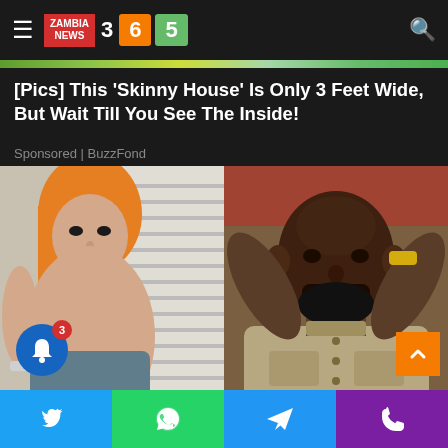ZAMBIA NEWS 365
[Pics] This 'Skinny House' Is Only 3 Feet Wide, But Wait Till You See The Inside!
Sponsored | BuzzFond
[Figure (photo): Two photos side by side: left shows a young woman with long hair posing indoors near window blinds, right shows a bald man with beard looking stressed with hands on his head]
Social share buttons: Twitter, WhatsApp, Telegram, Phone